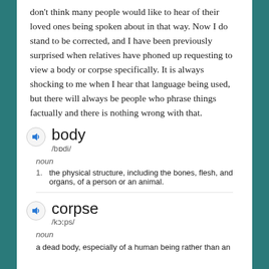don't think many people would like to hear of their loved ones being spoken about in that way. Now I do stand to be corrected, and I have been previously surprised when relatives have phoned up requesting to view a body or corpse specifically. It is always shocking to me when I hear that language being used, but there will always be people who phrase things factually and there is nothing wrong with that.
[Figure (screenshot): Dictionary definition screenshot showing entries for 'body' and 'corpse' with phonetic pronunciations, part of speech labels, and definitions.]